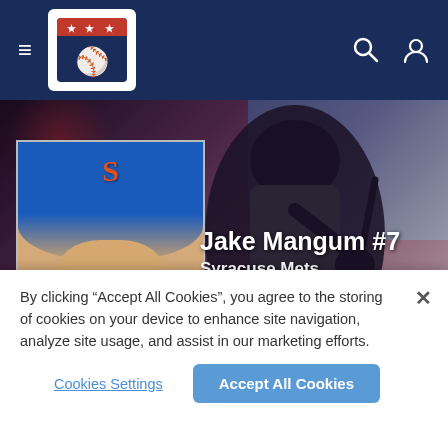[Figure (screenshot): MiLB (Minor League Baseball) navigation bar with hamburger menu, MiLB logo, search icon, and user icon on dark navy background]
[Figure (photo): Jake Mangum #7, baseball player in dark uniform holding bat, with smaller headshot photo in bottom left showing player in blue Mets cap. Player info overlay shows: Jake Mangum #7, Syracuse Mets, Triple-A Affiliate, RF | B/T: S/L | 6' 1"/179 | Age: 26]
By clicking “Accept All Cookies”, you agree to the storing of cookies on your device to enhance site navigation, analyze site usage, and assist in our marketing efforts.
Cookies Settings
Accept All Cookies